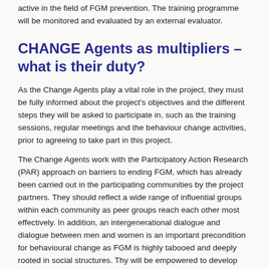active in the field of FGM prevention. The training programme will be monitored and evaluated by an external evaluator.
CHANGE Agents as multipliers – what is their duty?
As the Change Agents play a vital role in the project, they must be fully informed about the project's objectives and the different steps they will be asked to participate in, such as the training sessions, regular meetings and the behaviour change activities, prior to agreeing to take part in this project.
The Change Agents work with the Participatory Action Research (PAR) approach on barriers to ending FGM, which has already been carried out in the participating communities by the project partners. They should reflect a wide range of influential groups within each community as peer groups reach each other most effectively. In addition, an intergenerational dialogue and dialogue between men and women is an important precondition for behavioural change as FGM is highly tabooed and deeply rooted in social structures. Thy will be empowered to develop concrete strategies and to carry out activities for behavioural change in their communities.
For a sustainable result in promoting behaviour change in practising communities it is necessary to continue providing advice and support to the Change Agents after the training sessions. The meetings organised